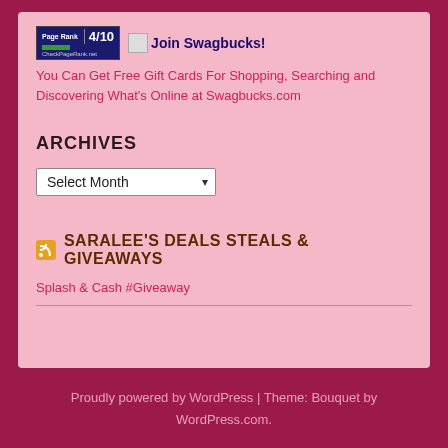[Figure (logo): Page Rank 4/10 CheckPageRank.net badge]
Join Swagbucks!
You Can Get Free Gift Cards For Shopping, Searching and Discovering What's Online at Swagbucks.com
ARCHIVES
Select Month
SARALEE'S DEALS STEALS & GIVEAWAYS
Splash & Cash #Giveaway
Proudly powered by WordPress | Theme: Bouquet by WordPress.com.